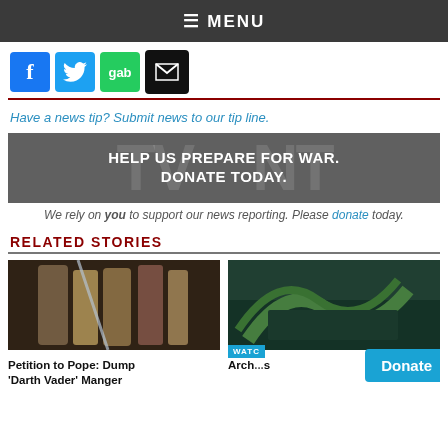≡ MENU
[Figure (other): Social media icons: Facebook (blue), Twitter (blue bird), Gab (green), Email (black envelope)]
Have a news tip? Submit news to our tip line.
[Figure (other): Dark banner ad reading: HELP US PREPARE FOR WAR. DONATE TODAY. with faint ghost text in background]
We rely on you to support our news reporting. Please donate today.
RELATED STORIES
[Figure (photo): Photo of Egyptian mummy sarcophagi displayed in museum lighting]
Petition to Pope: Dump 'Darth Vader' Manger
[Figure (photo): Photo of an abandoned urban building interior with green structures]
Arch...s